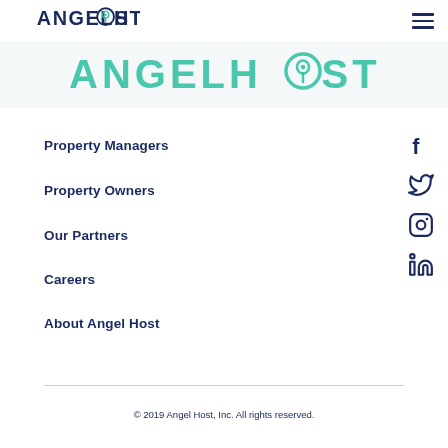[Figure (logo): AngelHost logo in navy blue with location pin icon, top navigation bar]
[Figure (logo): Large AngelHost logo in teal/mint color on light gray background]
Property Managers
Property Owners
Our Partners
Careers
About Angel Host
[Figure (other): Facebook, Twitter, Instagram, LinkedIn social media icons in navy blue]
© 2019 Angel Host, Inc. All rights reserved.